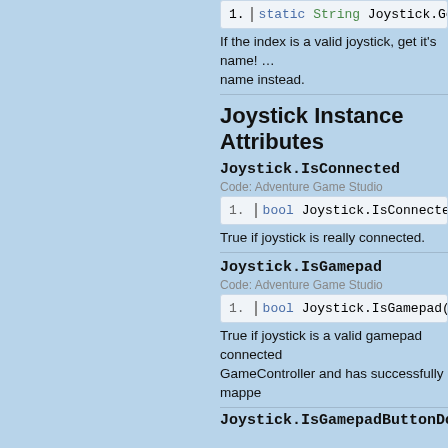[Figure (screenshot): Code block showing: 1. static String Joystick.Ge...]
If the index is a valid joystick, get it's name! ... name instead.
Joystick Instance Attributes
Joystick.IsConnected
Code: Adventure Game Studio
[Figure (screenshot): Code block showing: 1. bool Joystick.IsConnected...]
True if joystick is really connected.
Joystick.IsGamepad
Code: Adventure Game Studio
[Figure (screenshot): Code block showing: 1. bool Joystick.IsGamepad()]
True if joystick is a valid gamepad connected... GameController and has successfully mappe...
Joystick.IsGamepadButtonDown